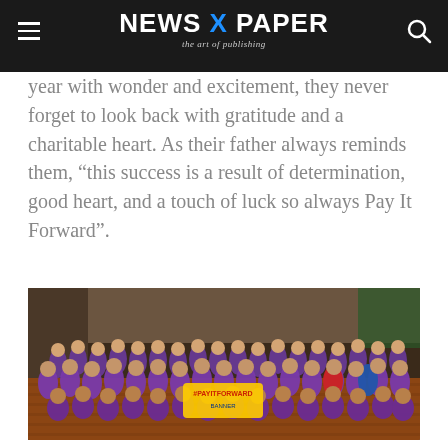NEWS X PAPER — the art of publishing
year with wonder and excitement, they never forget to look back with gratitude and a charitable heart. As their father always reminds them, “this success is a result of determination, good heart, and a touch of luck so always Pay It Forward”.
[Figure (photo): Large group photo of approximately 80-100 people, mostly wearing purple/violet t-shirts, posing together inside what appears to be an indoor venue with a wooden floor. They are holding a banner. Some individuals near the front are crouching or sitting.]